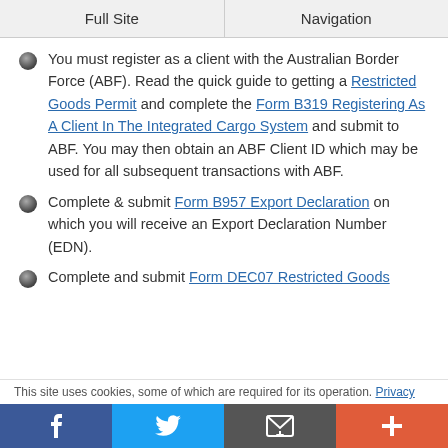Full Site | Navigation
You must register as a client with the Australian Border Force (ABF). Read the quick guide to getting a Restricted Goods Permit and complete the Form B319 Registering As A Client In The Integrated Cargo System and submit to ABF. You may then obtain an ABF Client ID which may be used for all subsequent transactions with ABF.
Complete & submit Form B957 Export Declaration on which you will receive an Export Declaration Number (EDN).
Complete and submit Form DEC07 Restricted Goods
This site uses cookies, some of which are required for its operation. Privacy